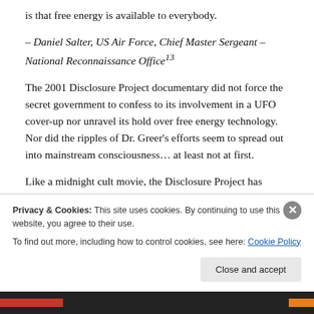is that free energy is available to everybody.
– Daniel Salter, US Air Force, Chief Master Sergeant – National Reconnaissance Office13
The 2001 Disclosure Project documentary did not force the secret government to confess to its involvement in a UFO cover-up nor unravel its hold over free energy technology. Nor did the ripples of Dr. Greer's efforts seem to spread out into mainstream consciousness… at least not at first.
Like a midnight cult movie, the Disclosure Project has
Privacy & Cookies: This site uses cookies. By continuing to use this website, you agree to their use.
To find out more, including how to control cookies, see here: Cookie Policy